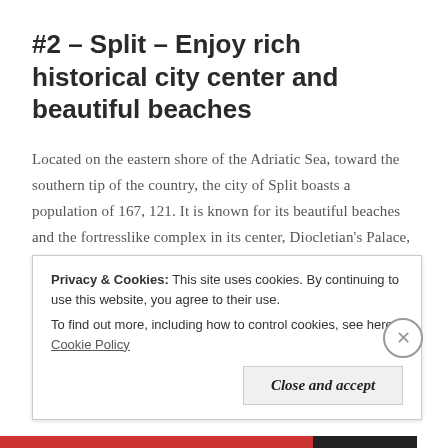#2 – Split – Enjoy rich historical city center and beautiful beaches
Located on the eastern shore of the Adriatic Sea, toward the southern tip of the country, the city of Split boasts a population of 167, 121. It is known for its beautiful beaches and the fortresslike complex in its center, Diocletian's Palace, built by the Roman emperor in the 4th century. Once home to thousands, its sprawling remains include more than 200 buildings. Also as one of the oldest cities in the region, it holds great historical significance. For this reason, Split's historic city
Privacy & Cookies: This site uses cookies. By continuing to use this website, you agree to their use. To find out more, including how to control cookies, see here: Cookie Policy
Close and accept